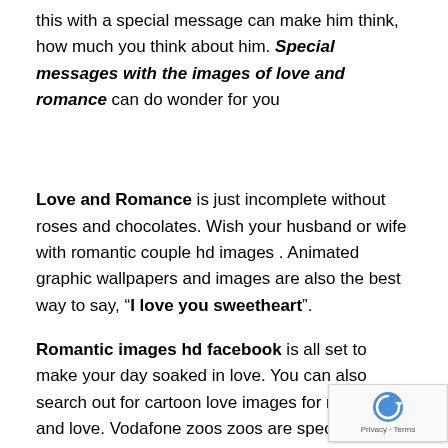this with a special message can make him think, how much you think about him. Special messages with the images of love and romance can do wonder for you
Love and Romance is just incomplete without roses and chocolates. Wish your husband or wife with romantic couple hd images . Animated graphic wallpapers and images are also the best way to say, “I love you sweetheart”.
Romantic images hd facebook is all set to make your day soaked in love. You can also search out for cartoon love images for romance and love. Vodafone zoos zoos are specially designed to convey love.
Romantic couple images with quotes are also a goo...